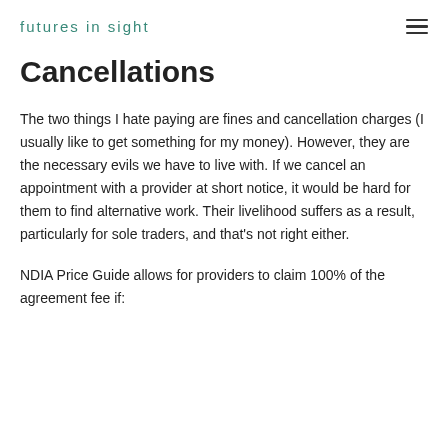futures in sight
Cancellations
The two things I hate paying are fines and cancellation charges (I usually like to get something for my money). However, they are the necessary evils we have to live with. If we cancel an appointment with a provider at short notice, it would be hard for them to find alternative work. Their livelihood suffers as a result, particularly for sole traders, and that's not right either.
NDIA Price Guide allows for providers to claim 100% of the agreement fee if: